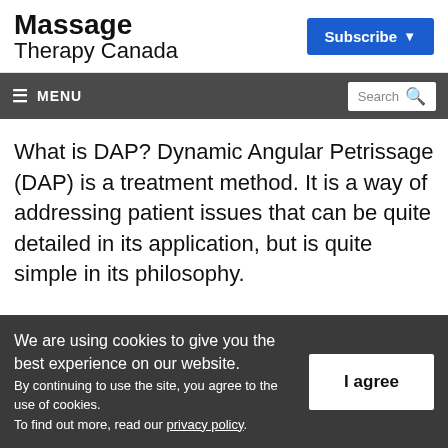Massage Therapy Canada
Subscribe
≡ MENU | Search
What is DAP? Dynamic Angular Petrissage (DAP) is a treatment method. It is a way of addressing patient issues that can be quite detailed in its application, but is quite simple in its philosophy.
We are using cookies to give you the best experience on our website. By continuing to use the site, you agree to the use of cookies. To find out more, read our privacy policy.
I agree